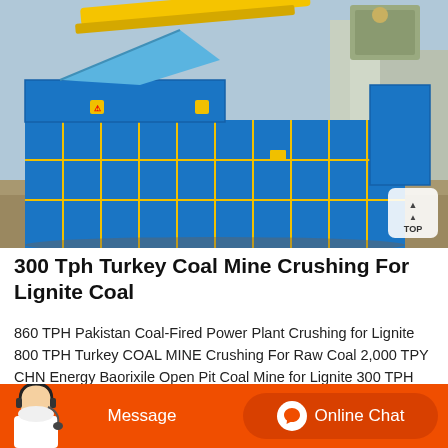[Figure (photo): Industrial blue metal baling/crushing machine with yellow accents (grid-style body, hydraulic arm) in a factory yard. A yellow crane beam is visible above. A 'TOP' navigation button appears in the bottom-right corner of the image.]
300 Tph Turkey Coal Mine Crushing For Lignite Coal
860 TPH Pakistan Coal-Fired Power Plant Crushing for Lignite 800 TPH Turkey COAL MINE Crushing For Raw Coal 2,000 TPY CHN Energy Baorixile Open Pit Coal Mine for Lignite 300 TPH Indonesia Mining C...
Message   Online Chat